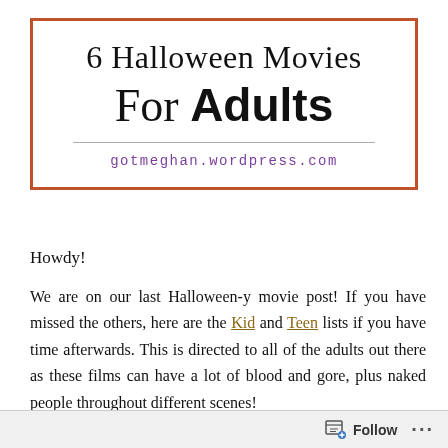6 Halloween Movies For Adults
gotmeghan.wordpress.com
Howdy!
We are on our last Halloween-y movie post! If you have missed the others, here are the Kid and Teen lists if you have time afterwards. This is directed to all of the adults out there as these films can have a lot of blood and gore, plus naked people throughout different scenes!
Follow ...